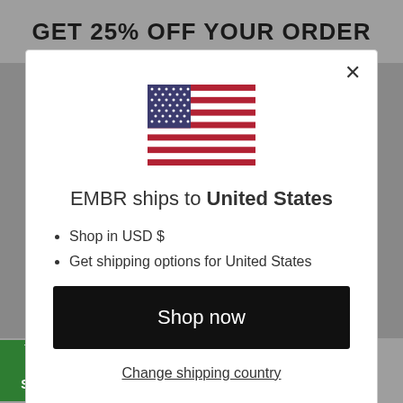GET 25% OFF YOUR ORDER
[Figure (illustration): US flag icon]
EMBR ships to United States
Shop in USD $
Get shipping options for United States
Shop now
Change shipping country
se link (where available) in one of our messages. w our Privacy Policy and Terms of Service.